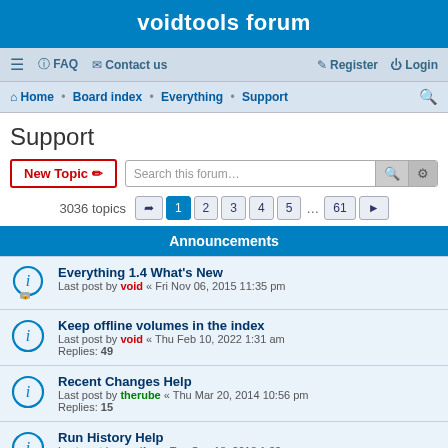voidtools forum
≡  FAQ  Contact us    Register  Login
Home · Board index · Everything · Support
Support
New Topic  Search this forum…
3036 topics   1  2  3  4  5  ...  61  ▶
Announcements
Everything 1.4 What's New
Last post by void « Fri Nov 06, 2015 11:35 pm
Keep offline volumes in the index
Last post by void « Thu Feb 10, 2022 1:31 am
Replies: 49
Recent Changes Help
Last post by therube « Thu Mar 20, 2014 10:56 pm
Replies: 15
Run History Help
Last post by randfee « Tue Sep 18, 2018 1:32 am
Replies: 4
Search Syntax Help